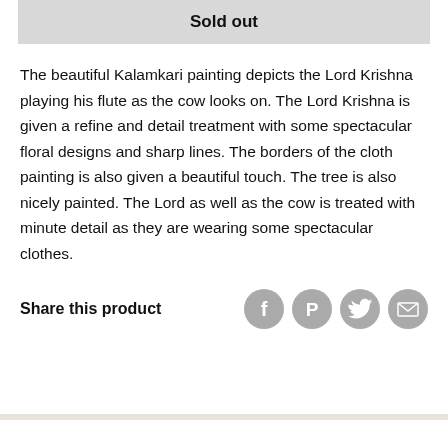Sold out
The beautiful Kalamkari painting depicts the Lord Krishna playing his flute as the cow looks on. The Lord Krishna is given a refine and detail treatment with some spectacular floral designs and sharp lines. The borders of the cloth painting is also given a beautiful touch. The tree is also nicely painted. The Lord as well as the cow is treated with minute detail as they are wearing some spectacular clothes.
Share this product
[Figure (infographic): Social sharing icons for Facebook, Pinterest, Twitter, and Email]